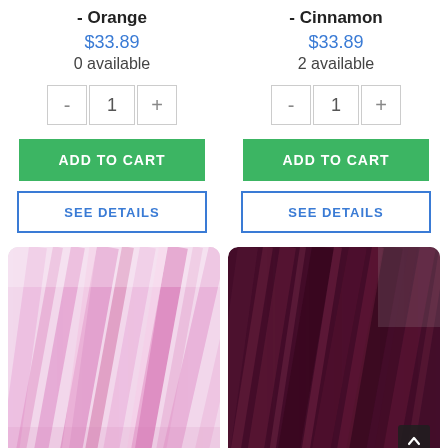- Orange
$33.89
0 available
- Cinnamon
$33.89
2 available
[Figure (screenshot): Pink hair bundle product image]
[Figure (screenshot): Dark burgundy/maroon hair bundle product image]